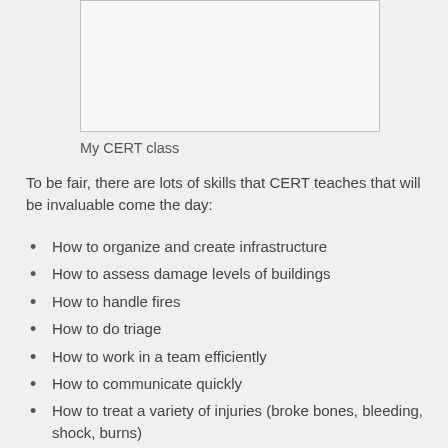[Figure (other): Empty rectangular box representing a photo placeholder for My CERT class]
My CERT class
To be fair, there are lots of skills that CERT teaches that will be invaluable come the day:
How to organize and create infrastructure
How to assess damage levels of buildings
How to handle fires
How to do triage
How to work in a team efficiently
How to communicate quickly
How to treat a variety of injuries (broke bones, bleeding, shock, burns)
How to prepare for a disaster